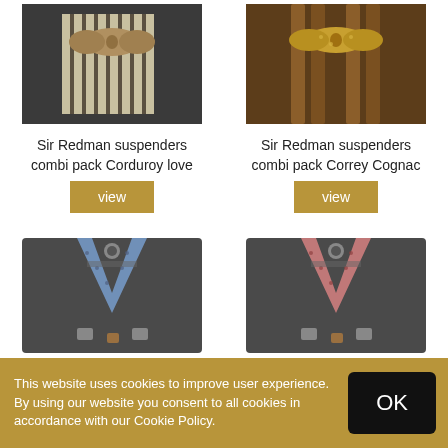[Figure (photo): Sir Redman suspenders combi pack Corduroy love product photo - striped suspenders with brown bow tie on dark card]
[Figure (photo): Sir Redman suspenders combi pack Correy Cognac product photo - brown leather suspenders with gold paisley bow tie on dark card]
Sir Redman suspenders combi pack Corduroy love
view
Sir Redman suspenders combi pack Correy Cognac
view
[Figure (photo): Suspenders product photo - blue patterned suspenders with brown leather clips on dark card]
[Figure (photo): Suspenders product photo - pink/red patterned suspenders with brown leather clips on dark card]
This website uses cookies to improve user experience. By using our website you consent to all cookies in accordance with our Cookie Policy.
OK